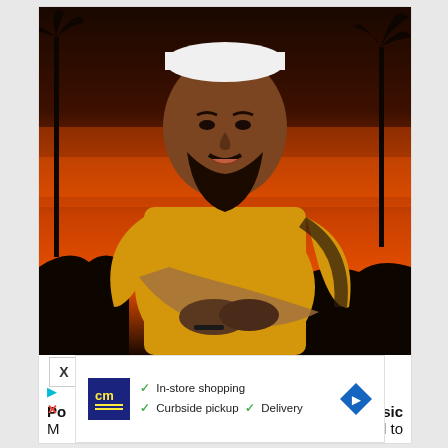[Figure (photo): A man with a beard, tattoo sleeve arms, wearing a yellow t-shirt and white cap, arms crossed, photographed against a dramatic orange-red sunset sky with palm tree silhouettes in the background.]
[Figure (other): An advertisement overlay panel showing a CM logo (yellow text on dark blue), checkmarks for 'In-store shopping', 'Curbside pickup', 'Delivery', and a blue diamond-shaped arrow icon.]
Po... Classic M... ed to